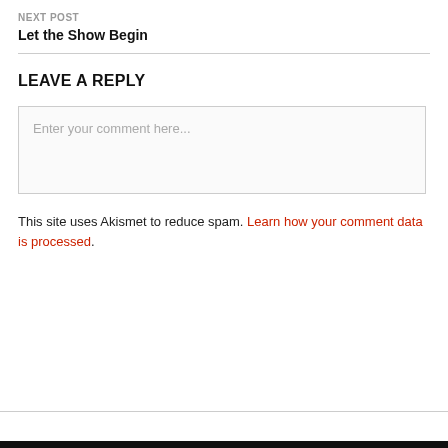NEXT POST
Let the Show Begin
LEAVE A REPLY
Enter your comment here...
This site uses Akismet to reduce spam. Learn how your comment data is processed.